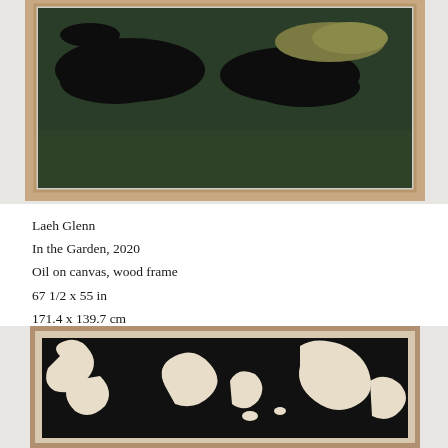[Figure (photo): Framed painting on wall showing abstract dark green and black organic shapes on a deep green background, in a light wood frame. Top portion cropped.]
Laeh Glenn
In the Garden, 2020
Oil on canvas, wood frame
67 1/2 x 55 in
171.4 x 139.7 cm
[Figure (photo): Framed painting on wall showing cream/off-white abstract organic shapes on a dark black background, in a dark wood frame. Bottom portion visible.]